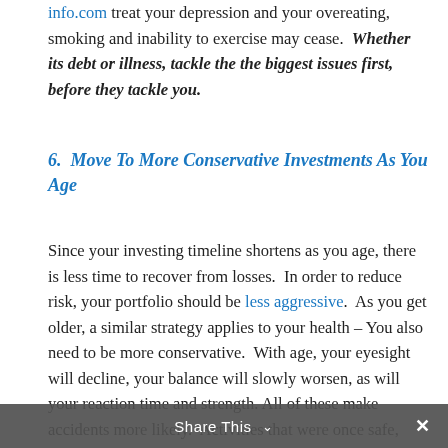info.com treat your depression and your overeating, smoking and inability to exercise may cease.  Whether its debt or illness, tackle the the biggest issues first, before they tackle you.
6.  Move To More Conservative Investments As You Age
Since your investing timeline shortens as you age, there is less time to recover from losses.  In order to reduce risk, your portfolio should be less aggressive.  As you get older, a similar strategy applies to your health – You also need to be more conservative.  With age, your eyesight will decline, your balance will slowly worsen, as will your reaction time and strength. All of these make accidents more likely.  Activities that were once safe, will become less so over time.  Furthermore, with age, your ability to recover from illnesses or
Share This ∨  ✕